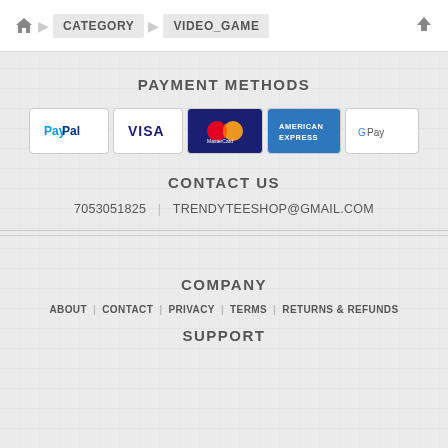🏠 CATEGORY VIDEO_GAME ↑
PAYMENT METHODS
[Figure (infographic): Row of payment method logos: PayPal, VISA, Mastercard, American Express, Google Pay]
CONTACT US
7053051825 | TRENDYTEESHOP@GMAIL.COM
COMPANY
ABOUT | CONTACT | PRIVACY | TERMS | RETURNS & REFUNDS
SUPPORT